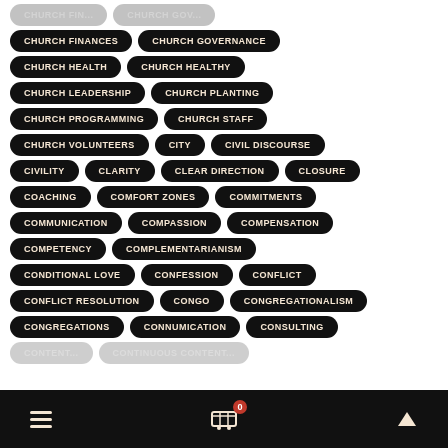CHURCH FINANCES
CHURCH GOVERNANCE
CHURCH HEALTH
CHURCH HEALTHY
CHURCH LEADERSHIP
CHURCH PLANTING
CHURCH PROGRAMMING
CHURCH STAFF
CHURCH VOLUNTEERS
CITY
CIVIL DISCOURSE
CIVILITY
CLARITY
CLEAR DIRECTION
CLOSURE
COACHING
COMFORT ZONES
COMMITMENTS
COMMUNICATION
COMPASSION
COMPENSATION
COMPETENCY
COMPLEMENTARIANISM
CONDITIONAL LOVE
CONFESSION
CONFLICT
CONFLICT RESOLUTION
CONGO
CONGREGATIONALISM
CONGREGATIONS
CONNUMICATION
CONSULTING
≡  🛒 0  ▲